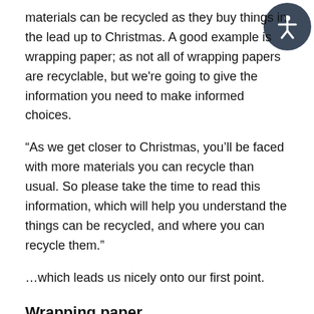materials can be recycled as they buy things in the lead up to Christmas. A good example is wrapping paper; as not all of wrapping papers are recyclable, but we're going to give the information you need to make informed choices.
“As we get closer to Christmas, you’ll be faced with more materials you can recycle than usual. So please take the time to read this information, which will help you understand the things can be recycled, and where you can recycle them.”
…which leads us nicely onto our first point.
Wrapping paper
As Cllr Bithell touched upon, not all types of wrapping papers are recyclable. The shiny foil wrapping is non-recyclable, so please stay away from this. Wrapping with glitter is also non-recyclable.